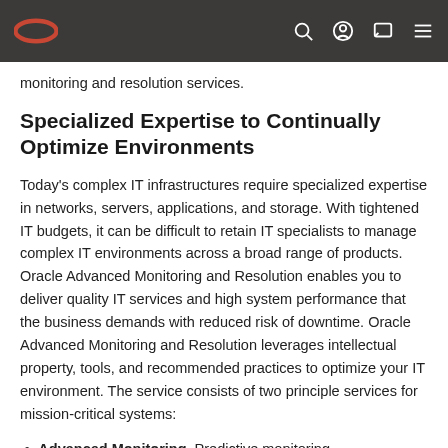Oracle logo navigation bar with search, user, chat, and menu icons
monitoring and resolution services.
Specialized Expertise to Continually Optimize Environments
Today's complex IT infrastructures require specialized expertise in networks, servers, applications, and storage. With tightened IT budgets, it can be difficult to retain IT specialists to manage complex IT environments across a broad range of products. Oracle Advanced Monitoring and Resolution enables you to deliver quality IT services and high system performance that the business demands with reduced risk of downtime. Oracle Advanced Monitoring and Resolution leverages intellectual property, tools, and recommended practices to optimize your IT environment. The service consists of two principle services for mission-critical systems:
Advanced Monitoring. Predictive monitoring